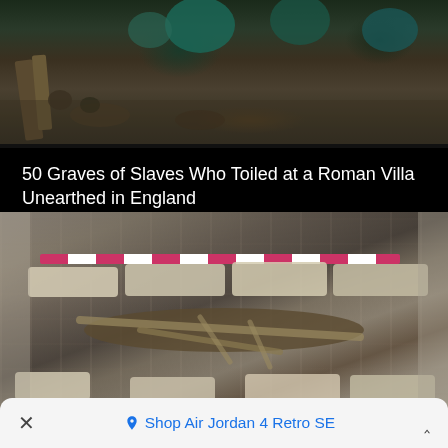[Figure (photo): Aerial or overhead view of an archaeological excavation showing artifacts and disturbed earth in dark tones with teal/green objects visible]
50 Graves of Slaves Who Toiled at a Roman Villa Unearthed in England
[Figure (photo): Archaeological excavation showing a human skeleton lying in a stone-lined grave with a pink and white measuring scale bar at the top, surrounded by cracked stone and rock]
Well-Preserved Iron Age Butter Found At The Bottom Of Lake In
× ⊙ Shop Air Jordan 4 Retro SE ^